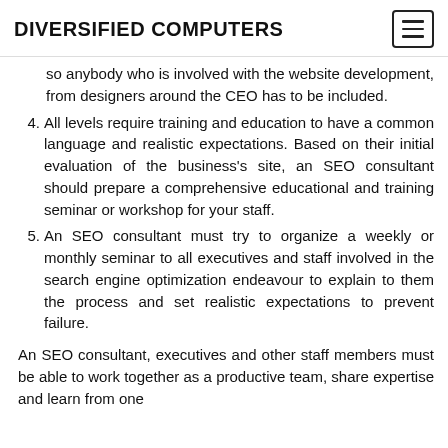DIVERSIFIED COMPUTERS
so anybody who is involved with the website development, from designers around the CEO has to be included.
4. All levels require training and education to have a common language and realistic expectations. Based on their initial evaluation of the business's site, an SEO consultant should prepare a comprehensive educational and training seminar or workshop for your staff.
5. An SEO consultant must try to organize a weekly or monthly seminar to all executives and staff involved in the search engine optimization endeavour to explain to them the process and set realistic expectations to prevent failure.
An SEO consultant, executives and other staff members must be able to work together as a productive team, share expertise and learn from one